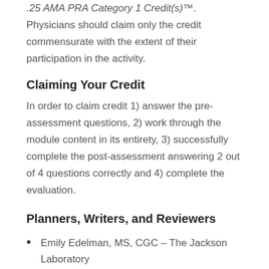.25 AMA PRA Category 1 Credit(s)™. Physicians should claim only the credit commensurate with the extent of their participation in the activity.
Claiming Your Credit
In order to claim credit 1) answer the pre-assessment questions, 2) work through the module content in its entirety, 3) successfully complete the post-assessment answering 2 out of 4 questions correctly and 4) complete the evaluation.
Planners, Writers, and Reviewers
Emily Edelman, MS, CGC – The Jackson Laboratory
Theresa Ingram, MA – The Jackson Laboratory